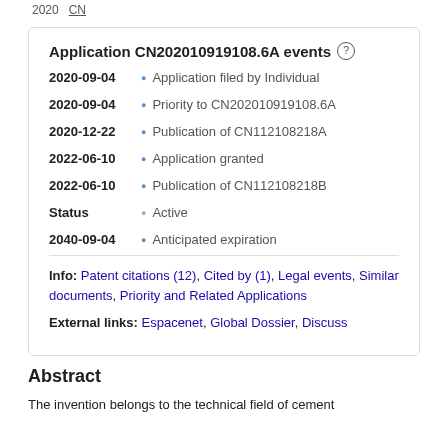Application CN202010919108.6A events
2020-09-04 • Application filed by Individual
2020-09-04 • Priority to CN202010919108.6A
2020-12-22 • Publication of CN112108218A
2022-06-10 • Application granted
2022-06-10 • Publication of CN112108218B
Status • Active
2040-09-04 • Anticipated expiration
Info: Patent citations (12), Cited by (1), Legal events, Similar documents, Priority and Related Applications
External links: Espacenet, Global Dossier, Discuss
Abstract
The invention belongs to the technical field of cement